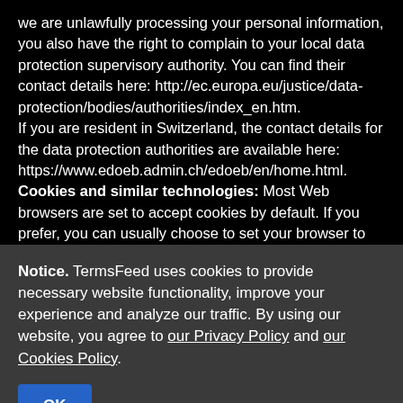we are unlawfully processing your personal information, you also have the right to complain to your local data protection supervisory authority. You can find their contact details here: http://ec.europa.eu/justice/data-protection/bodies/authorities/index_en.htm. If you are resident in Switzerland, the contact details for the data protection authorities are available here: https://www.edoeb.admin.ch/edoeb/en/home.html. Cookies and similar technologies: Most Web browsers are set to accept cookies by default. If you prefer, you can usually choose to set your browser to remove cookies and to reject cookies. If you choose to remove cookies or reject cookies, this could affect certain features or services of our Website. To opt-out of interest-based advertising by advertisers on our Website visit http://www.aboutads.info/choices/
Notice. TermsFeed uses cookies to provide necessary website functionality, improve your experience and analyze our traffic. By using our website, you agree to our Privacy Policy and our Cookies Policy.